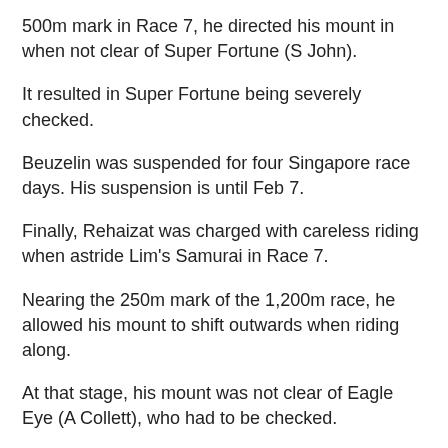500m mark in Race 7, he directed his mount in when not clear of Super Fortune (S John).
It resulted in Super Fortune being severely checked.
Beuzelin was suspended for four Singapore race days. His suspension is until Feb 7.
Finally, Rehaizat was charged with careless riding when astride Lim's Samurai in Race 7.
Nearing the 250m mark of the 1,200m race, he allowed his mount to shift outwards when riding along.
At that stage, his mount was not clear of Eagle Eye (A Collett), who had to be checked.
He pleaded guilty and was suspended for three Singapore race days, which will run until Feb 1.